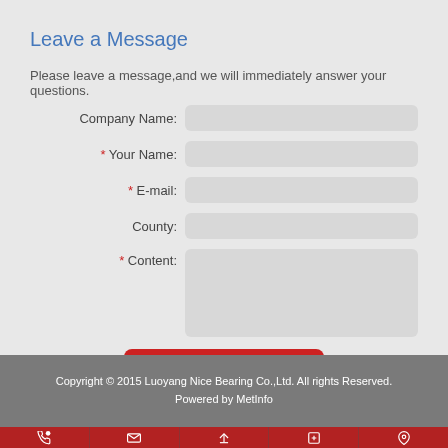Leave a Message
Please leave a message,and we will immediately answer your questions.
Company Name: [input field]
* Your Name: [input field]
* E-mail: [input field]
County: [input field]
* Content: [textarea]
Send a Message
Copyright © 2015 Luoyang Nice Bearing Co.,Ltd. All rights Reserved.
Powered by MetInfo